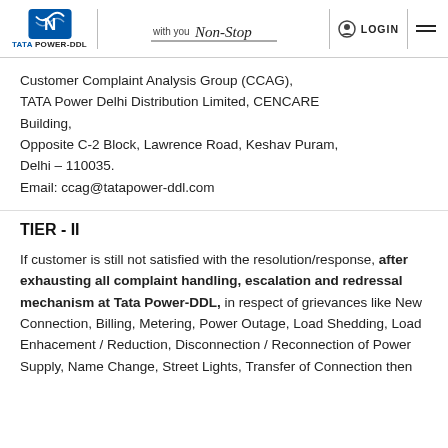TATA POWER-DDL | with you Non-Stop | LOGIN
Customer Complaint Analysis Group (CCAG), TATA Power Delhi Distribution Limited, CENCARE Building, Opposite C-2 Block, Lawrence Road, Keshav Puram, Delhi – 110035. Email: ccag@tatapower-ddl.com
TIER - II
If customer is still not satisfied with the resolution/response, after exhausting all complaint handling, escalation and redressal mechanism at Tata Power-DDL, in respect of grievances like New Connection, Billing, Metering, Power Outage, Load Shedding, Load Enhacement / Reduction, Disconnection / Reconnection of Power Supply, Name Change, Street Lights, Transfer of Connection then